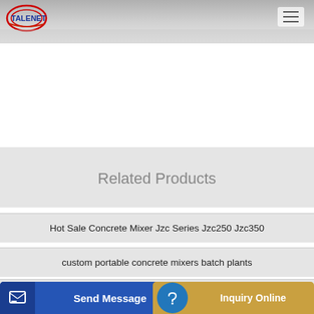TALENET (logo) — navigation menu
Related Products
Hot Sale Concrete Mixer Jzc Series Jzc250 Jzc350
custom portable concrete mixers batch plants
Used cement silo for sale algeria
mobile batching plant on auction
[Figure (screenshot): Send Message button with icon on the left (dark blue background)]
[Figure (screenshot): Inquiry Online button with headset icon (gold/amber background)]